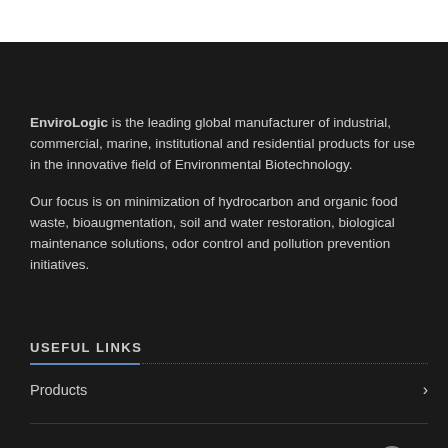EnviroLogic is the leading global manufacturer of industrial, commercial, marine, institutional and residential products for use in the innovative field of Environmental Biotechnology.

Our focus is on minimization of hydrocarbon and organic food waste, bioaugmentation, soil and water restoration, biological maintenance solutions, odor control and pollution prevention initiatives.
USEFUL LINKS
Products
Technical Data